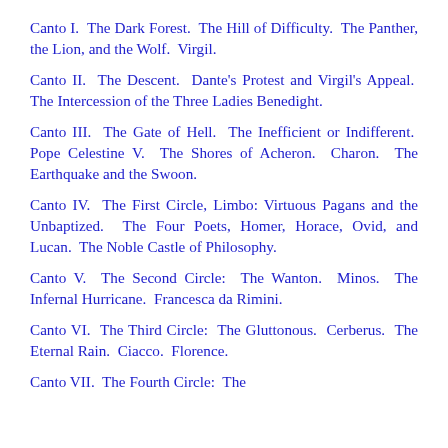Canto I. The Dark Forest. The Hill of Difficulty. The Panther, the Lion, and the Wolf. Virgil.
Canto II. The Descent. Dante's Protest and Virgil's Appeal. The Intercession of the Three Ladies Benedight.
Canto III. The Gate of Hell. The Inefficient or Indifferent. Pope Celestine V. The Shores of Acheron. Charon. The Earthquake and the Swoon.
Canto IV. The First Circle, Limbo: Virtuous Pagans and the Unbaptized. The Four Poets, Homer, Horace, Ovid, and Lucan. The Noble Castle of Philosophy.
Canto V. The Second Circle: The Wanton. Minos. The Infernal Hurricane. Francesca da Rimini.
Canto VI. The Third Circle: The Gluttonous. Cerberus. The Eternal Rain. Ciacco. Florence.
Canto VII. The Fourth Circle: The